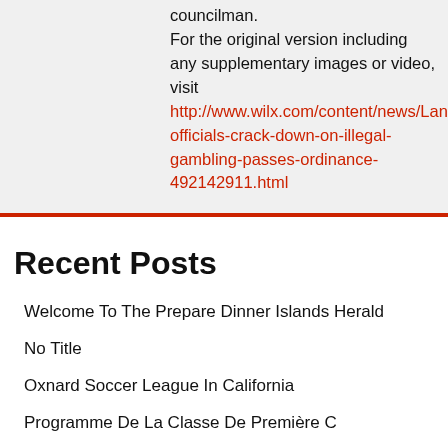councilman.
For the original version including any supplementary images or video, visit
http://www.wilx.com/content/news/Lansing-officials-crack-down-on-illegal-gambling-passes-ordinance-492142911.html
Recent Posts
Welcome To The Prepare Dinner Islands Herald
No Title
Oxnard Soccer League In California
Programme De La Classe De Première C
These Articles Are Here With The Sole Intention Of Helping You To Make The Whole Process A Lot Easier.
Categories